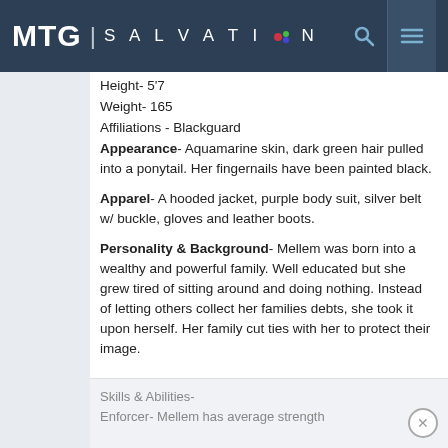MTG SALVATION
Height- 5'7
Weight- 165
Affiliations - Blackguard
Appearance- Aquamarine skin, dark green hair pulled into a ponytail. Her fingernails have been painted black.

Apparel- A hooded jacket, purple body suit, silver belt w/ buckle, gloves and leather boots.

Personality & Background- Mellem was born into a wealthy and powerful family. Well educated but she grew tired of sitting around and doing nothing. Instead of letting others collect her families debts, she took it upon herself. Her family cut ties with her to protect their image.
Skills & Abilities-
Enforcer- Mellem has average strength